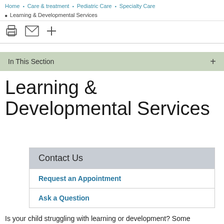Home ▪ Care & treatment ▪ Pediatric Care ▪ Specialty Care ▪ Learning & Developmental Services
In This Section
Learning & Developmental Services
Contact Us
Request an Appointment
Ask a Question
Is your child struggling with learning or development? Some